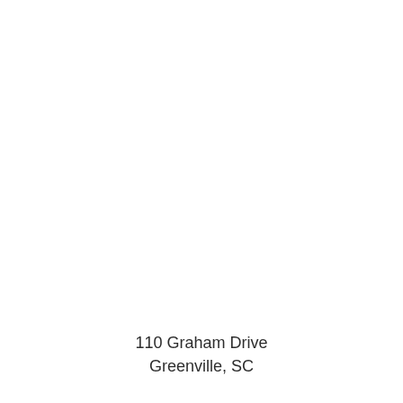110 Graham Drive
Greenville, SC